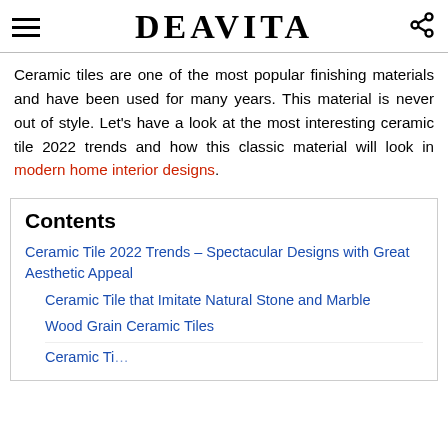DEAVITA
Ceramic tiles are one of the most popular finishing materials and have been used for many years. This material is never out of style. Let's have a look at the most interesting ceramic tile 2022 trends and how this classic material will look in modern home interior designs.
Contents
Ceramic Tile 2022 Trends – Spectacular Designs with Great Aesthetic Appeal
Ceramic Tile that Imitate Natural Stone and Marble
Wood Grain Ceramic Tiles